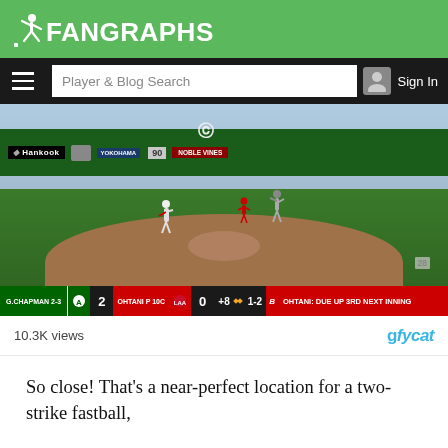FanGraphs
[Figure (screenshot): Baseball game screenshot showing a pitcher on the mound with batter and catcher at plate. Score overlay shows A's 2, Angels 0, count 1-2. Scoreboard shows Ohtani due up 3rd next inning. 10.3K views, gfycat watermark.]
So close! That’s a near-perfect location for a two-strike fastball,